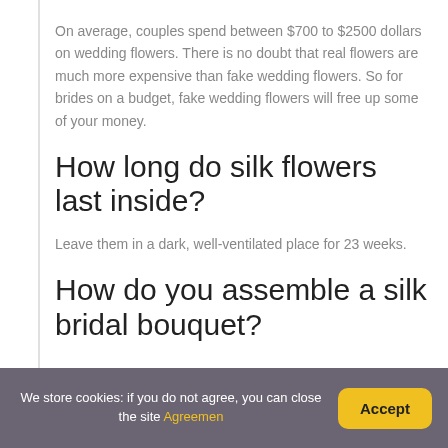On average, couples spend between $700 to $2500 dollars on wedding flowers. There is no doubt that real flowers are much more expensive than fake wedding flowers. So for brides on a budget, fake wedding flowers will free up some of your money.
How long do silk flowers last inside?
Leave them in a dark, well-ventilated place for 23 weeks.
How do you assemble a silk bridal bouquet?
We store cookies: if you do not agree, you can close the site Agreemen Accept